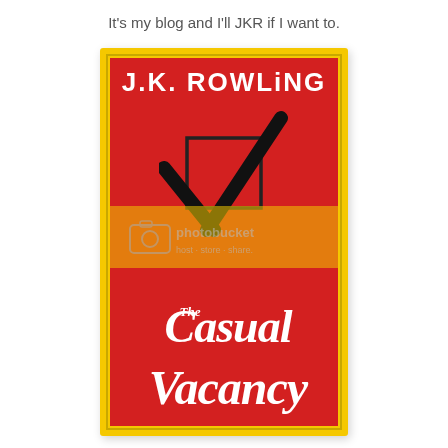It's my blog and I'll JKR if I want to.
[Figure (illustration): Book cover of 'The Casual Vacancy' by J.K. Rowling. Red cover with yellow border. Large white sans-serif author name at top. A ballot box with a bold black checkmark in the center. Cursive white title 'The Casual Vacancy' at the bottom. Photobucket watermark overlaid in the middle.]